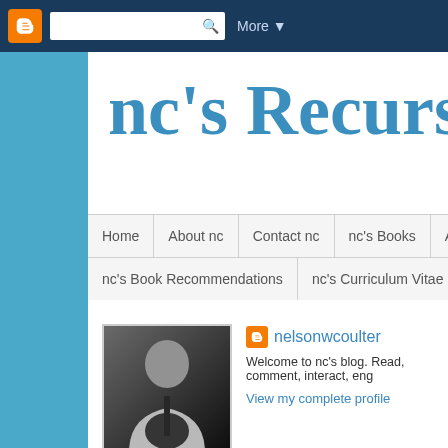Blogger navigation bar with search and More button
nc's Recursive
Home | About nc | Contact nc | nc's Books | Articles | nc's Book Recommendations | nc's Curriculum Vitae
[Figure (photo): Black and white photo of a bald man playing guitar]
nelsonwcoulter
Welcome to nc's blog. Read, comment, interact, eng
View my complete profile
Monday, June 14, 2021
Factfulness